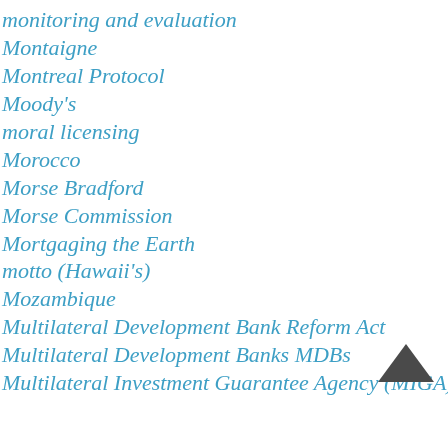monitoring and evaluation
Montaigne
Montreal Protocol
Moody's
moral licensing
Morocco
Morse Bradford
Morse Commission
Mortgaging the Earth
motto (Hawaii's)
Mozambique
Multilateral Development Bank Reform Act
Multilateral Development Banks MDBs
Multilateral Investment Guarantee Agency (MIGA)
[Figure (other): Scroll-to-top arrow button (dark chevron/caret pointing upward)]